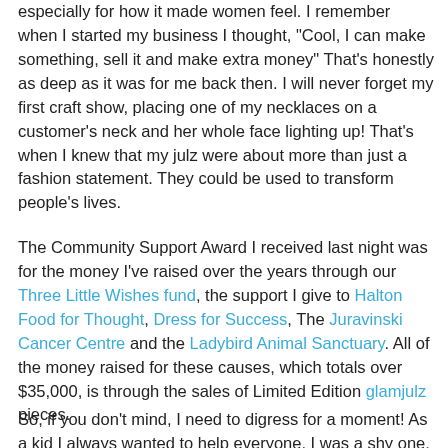especially for how it made women feel. I remember when I started my business I thought, "Cool, I can make something, sell it and make extra money" That's honestly as deep as it was for me back then.  I will never forget my first craft show, placing one of my necklaces on a customer's neck and her whole face lighting up!  That's when I knew that my julz were about more than just a fashion statement.  They could be used to transform people's lives.
The Community Support Award I received last night was for the money  I've raised over the years through our Three Little Wishes fund, the support I give to Halton Food for Thought, Dress for Success, The Juravinski Cancer Centre and the Ladybird Animal Sanctuary.  All of the money raised for these causes, which totals over $35,000, is through the sales of Limited Edition glamjulz pieces.
So, if you don't mind, I need to digress for a moment!  As a kid I always wanted to help everyone.  I was a shy one, believe it or not, and myself, of the many challenges to getting that I had...